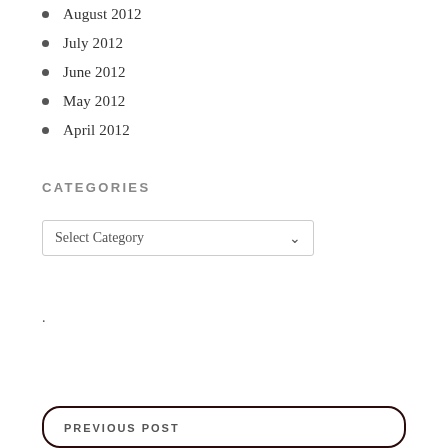August 2012
July 2012
June 2012
May 2012
April 2012
CATEGORIES
[Figure (other): Select Category dropdown widget]
.
PREVIOUS POST